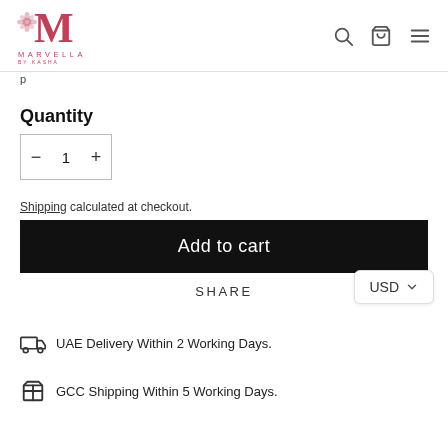Marvella by Kasha — navigation header with logo, search, cart, and menu icons
p
Quantity
- 1 +
Shipping calculated at checkout.
Add to cart
SHARE
USD
UAE Delivery Within 2 Working Days.
GCC Shipping Within 5 Working Days.